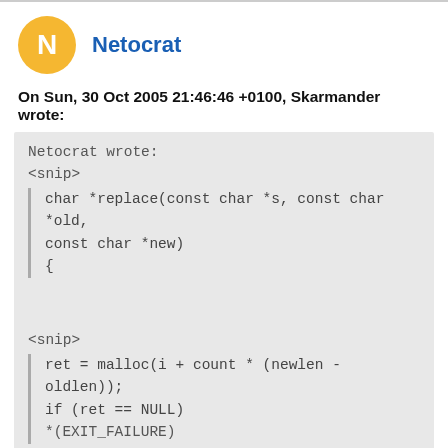Netocrat
On Sun, 30 Oct 2005 21:46:46 +0100, Skarmander wrote:
Netocrat wrote:
<snip>

char *replace(const char *s, const char *old,
const char *new)
{


<snip>

ret = malloc(i + count * (newlen - oldlen));
if (ret == NULL)
*(EXIT_FAILURE)